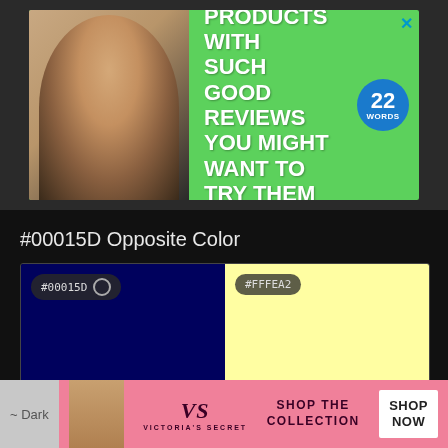[Figure (advertisement): Green banner ad: '37 Beauty Products With Such Good Reviews You Might Want To Try Them Yourself' with woman and 22 Words badge]
#00015D Opposite Color
[Figure (infographic): Two color swatches side by side: left is dark navy #00015D, right is pale yellow #FFFEA2]
#00015D Tints and Shades
[Figure (advertisement): Victoria's Secret pink banner ad: Shop The Collection / Shop Now]
~ Dark